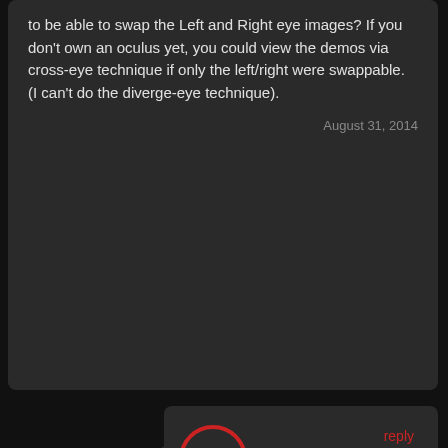to be able to swap the Left and Right eye images? If you don't own an oculus yet, you could view the demos via cross-eye technique if only the left/right were swappable. (I can't do the diverge-eye technique).
August 31, 2014
[Figure (logo): IR logo - red circle with IR letters]
infinite
reply
No I don't think so, I also don't recommend that as it could cause injury!
September 8, 2014
[Figure (illustration): Mario character avatar thumbnail]
lewis